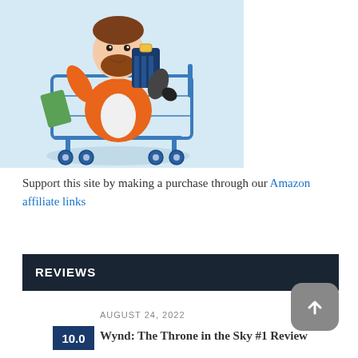[Figure (illustration): Cartoon illustration of a bearded man in an orange jacket sitting inside a shopping cart, holding shopping bags, against a light blue background.]
Support this site by making a purchase through our Amazon affiliate links
REVIEWS
AUGUST 24, 2022
10.0
Wynd: The Throne in the Sky #1 Review